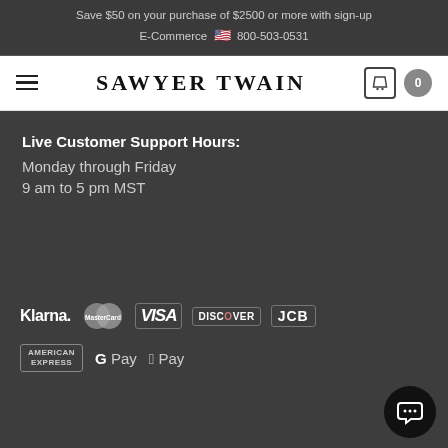Save $50 on your purchase of $2500 or more with sign-up E-Commerce 🇺🇸 800-503-0531
SAWYER TWAIN
Live Customer Support Hours:
Monday through Friday
9 am to 5 pm MST
[Figure (logo): Payment method logos: Klarna, MasterCard, VISA, DISCOVER, JCB, American Express, G Pay, Apple Pay]
[Figure (other): Live chat button (speech bubble icon)]